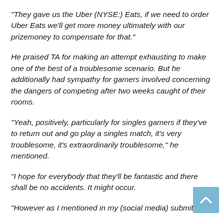“They gave us the Uber (NYSE:) Eats, if we need to order Uber Eats we’ll get more money ultimately with our prizemoney to compensate for that.”
He praised TA for making an attempt exhausting to make one of the best of a troublesome scenario. But he additionally had sympathy for gamers involved concerning the dangers of competing after two weeks caught of their rooms.
“Yeah, positively, particularly for singles gamers if they’ve to return out and go play a singles match, it’s very troublesome, it’s extraordinarily troublesome,” he mentioned.
“I hope for everybody that they’ll be fantastic and there shall be no accidents. It might occur.
“However as I mentioned in my (social media) submit, we